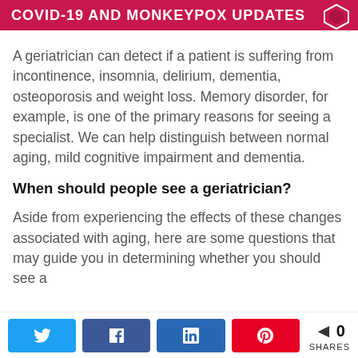COVID-19 AND MONKEYPOX UPDATES
A geriatrician can detect if a patient is suffering from incontinence, insomnia, delirium, dementia, osteoporosis and weight loss. Memory disorder, for example, is one of the primary reasons for seeing a specialist. We can help distinguish between normal aging, mild cognitive impairment and dementia.
When should people see a geriatrician?
Aside from experiencing the effects of these changes associated with aging, here are some questions that may guide you in determining whether you should see a
0 SHARES